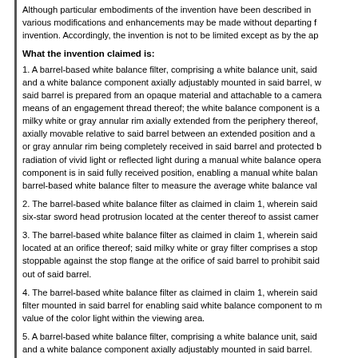Although particular embodiments of the invention have been described in various modifications and enhancements may be made without departing from the invention. Accordingly, the invention is not to be limited except as by the ap
What the invention claimed is:
1. A barrel-based white balance filter, comprising a white balance unit, said and a white balance component axially adjustably mounted in said barrel, w said barrel is prepared from an opaque material and attachable to a camera means of an engagement thread thereof; the white balance component is a milky white or gray annular rim axially extended from the periphery thereof, axially movable relative to said barrel between an extended position and a or gray annular rim being completely received in said barrel and protected b radiation of vivid light or reflected light during a manual white balance opera component is in said fully received position, enabling a manual white balan barrel-based white balance filter to measure the average white balance val
2. The barrel-based white balance filter as claimed in claim 1, wherein said six-star sword head protrusion located at the center thereof to assist camer
3. The barrel-based white balance filter as claimed in claim 1, wherein said located at an orifice thereof; said milky white or gray filter comprises a stop stoppable against the stop flange at the orifice of said barrel to prohibit said out of said barrel.
4. The barrel-based white balance filter as claimed in claim 1, wherein said filter mounted in said barrel for enabling said white balance component to m value of the color light within the viewing area.
5. A barrel-based white balance filter, comprising a white balance unit, said and a white balance component axially adjustably mounted in said barrel.